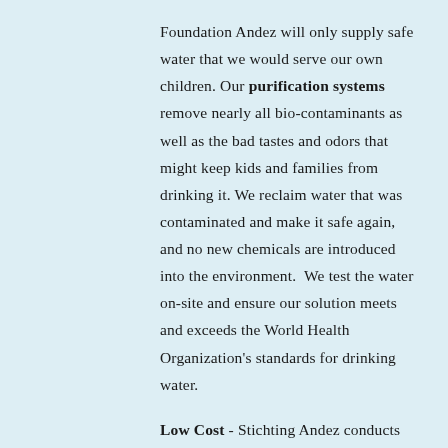Foundation Andez will only supply safe water that we would serve our own children. Our purification systems remove nearly all bio-contaminants as well as the bad tastes and odors that might keep kids and families from drinking it. We reclaim water that was contaminated and make it safe again, and no new chemicals are introduced into the environment.  We test the water on-site and ensure our solution meets and exceeds the World Health Organization's standards for drinking water.
Low Cost - Stichting Andez conducts its work for a fraction of the cost of typical approaches. Our model is built upon local appropriateness: local people, supply chains, infrastructure,